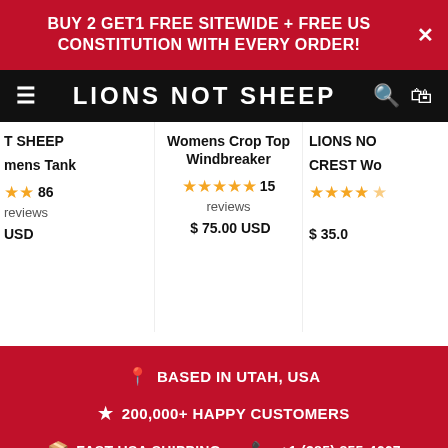BUY 2 GET1 FREE SITEWIDE + FREE US CONSTITUTION WITH EVERY ORDER!
LIONS NOT SHEEP
OT SHEEP
nens Tank
86 reviews
USD
Womens Crop Top Windbreaker
15 reviews
$ 75.00 USD
LIONS NO
CREST Wo
$ 35.0
BASED IN UTAH, USA
200,000+ HAPPY CUSTOMERS
FAST USA SHIPPING
+1 (385) 855-4667
Join Our VIP SMS Club*